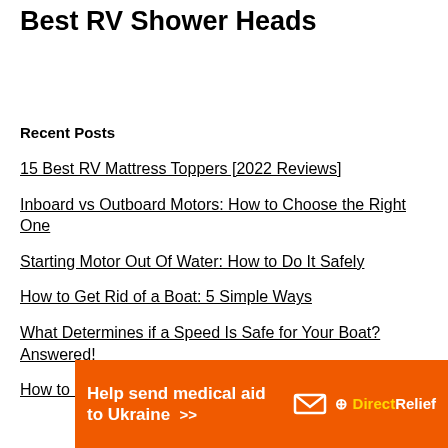Best RV Shower Heads
Recent Posts
15 Best RV Mattress Toppers [2022 Reviews]
Inboard vs Outboard Motors: How to Choose the Right One
Starting Motor Out Of Water: How to Do It Safely
How to Get Rid of a Boat: 5 Simple Ways
What Determines if a Speed Is Safe for Your Boat? Answered!
How to Remember Port and Starboard: 8 Fun Ways
[Figure (other): Orange advertisement banner: Help send medical aid to Ukraine >> with Direct Relief logo]